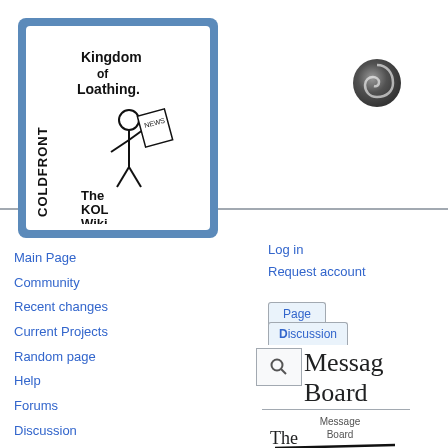[Figure (logo): KoL Coldfront - The KOL Wiki logo, hand-drawn stick figure holding a newspaper, blue border box]
[Figure (logo): Spiral/galaxy icon in top right of header]
Log in
Request account
Page
Discussion
Main Page
Community
Recent changes
Current Projects
Random page
Help
Forums
Discussion
KoL Coldfront
KoL IRC
Message Board
[Figure (illustration): Hand-drawn illustration of a Message Board with text lines]
The